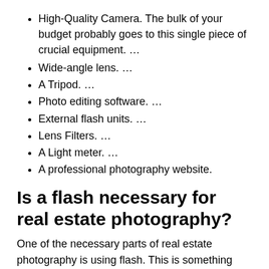High-Quality Camera. The bulk of your budget probably goes to this single piece of crucial equipment. …
Wide-angle lens. …
A Tripod. …
Photo editing software. …
External flash units. …
Lens Filters. …
A Light meter. …
A professional photography website.
Is a flash necessary for real estate photography?
One of the necessary parts of real estate photography is using flash. This is something that every beginning photographer should know. This is definitely based on importance …